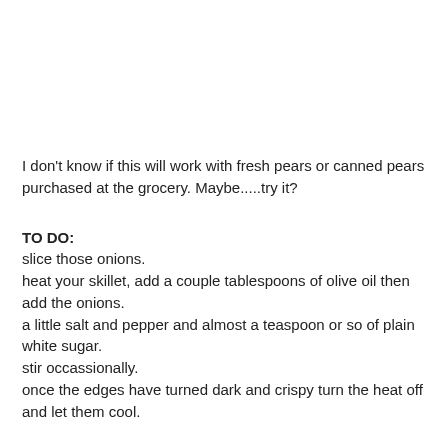I don't know if this will work with fresh pears or canned pears purchased at the grocery. Maybe.....try it?
TO DO:
slice those onions.
heat your skillet, add a couple tablespoons of olive oil then add the onions.
a little salt and pepper and almost a teaspoon or so of plain white sugar.
stir occassionally.
once the edges have turned dark and crispy turn the heat off and let them cool.